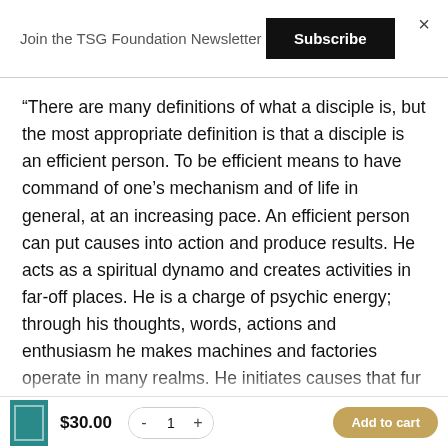Join the TSG Foundation Newsletter
Subscribe
“There are many definitions of what a disciple is, but the most appropriate definition is that a disciple is an efficient person. To be efficient means to have command of one’s mechanism and of life in general, at an increasing pace. An efficient person can put causes into action and produce results. He acts as a spiritual dynamo and creates activities in far-off places. He is a charge of psychic energy; through his thoughts, words, actions and enthusiasm he makes machines and factories operate in many realms. He initiates causes that fur...
$30.00
1
Add to cart